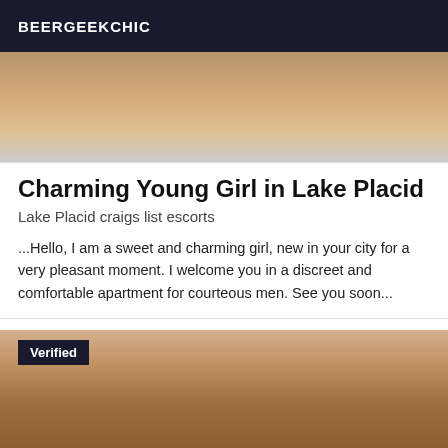BEERGEEKCHIC
[Figure (photo): Partial photo of a person, cropped showing torso/shoulders area with light background]
Charming Young Girl in Lake Placid
Lake Placid craigs list escorts
...Hello, I am a sweet and charming girl, new in your city for a very pleasant moment. I welcome you in a discreet and comfortable apartment for courteous men. See you soon...
[Figure (photo): Photo showing person wearing dark lace lingerie, with a 'Verified' badge overlay in the top-left corner]